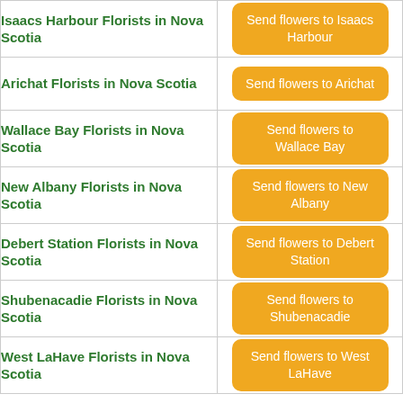| Location | Action |
| --- | --- |
| Isaacs Harbour Florists in Nova Scotia | Send flowers to Isaacs Harbour |
| Arichat Florists in Nova Scotia | Send flowers to Arichat |
| Wallace Bay Florists in Nova Scotia | Send flowers to Wallace Bay |
| New Albany Florists in Nova Scotia | Send flowers to New Albany |
| Debert Station Florists in Nova Scotia | Send flowers to Debert Station |
| Shubenacadie Florists in Nova Scotia | Send flowers to Shubenacadie |
| West LaHave Florists in Nova Scotia | Send flowers to West LaHave |